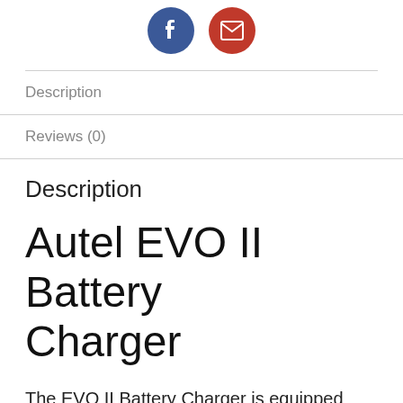[Figure (illustration): Two social share buttons: a blue circular Facebook icon and a red circular email/envelope icon, centered horizontally]
Description
Reviews (0)
Description
Autel EVO II Battery Charger
The EVO II Battery Charger is equipped with a charging interface and USB-A interface, supporting charging output of 13.2V, 5A and QC 3.0 respectively. It can charge batteries and a remote controller at the